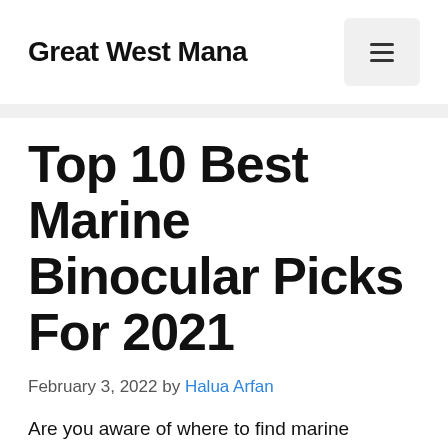Great West Mana
Top 10 Best Marine Binocular Picks For 2021
February 3, 2022 by Halua Arfan
Are you aware of where to find marine binocular? I would appreciate it if you could join us today. The market is filled with many